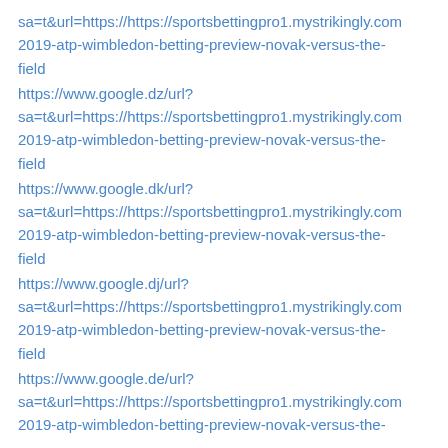sa=t&url=https://https://sportsbettingpro1.mystrikingly.com/2019-atp-wimbledon-betting-preview-novak-versus-the-field
https://www.google.dz/url?sa=t&url=https://https://sportsbettingpro1.mystrikingly.com/2019-atp-wimbledon-betting-preview-novak-versus-the-field
https://www.google.dk/url?sa=t&url=https://https://sportsbettingpro1.mystrikingly.com/2019-atp-wimbledon-betting-preview-novak-versus-the-field
https://www.google.dj/url?sa=t&url=https://https://sportsbettingpro1.mystrikingly.com/2019-atp-wimbledon-betting-preview-novak-versus-the-field
https://www.google.de/url?sa=t&url=https://https://sportsbettingpro1.mystrikingly.com/2019-atp-wimbledon-betting-preview-novak-versus-the-